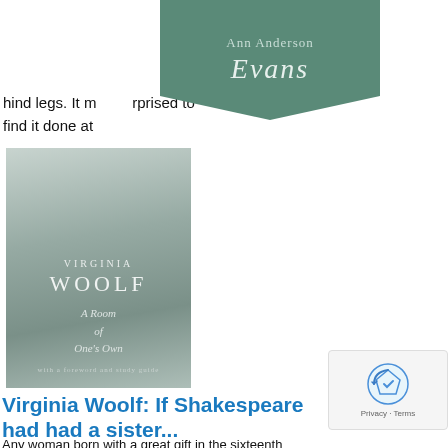Ann Anderson Evans
hind legs. It m... rprised to find it done at...
[Figure (photo): Book cover of 'A Room of One's Own' by Virginia Woolf — grayscale image of a figure seated by a window, with author name and title in white serif text]
Virginia Woolf: If Shakespeare had had a sister...
Any woman born with a great gift in the sixteenth century would certainly have gone crazed, shot...
Read More
Virginia Woolf: Why did no...